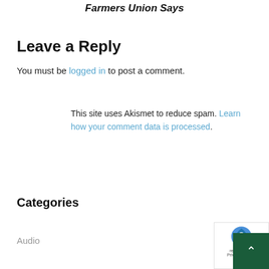Farmers Union Says
Leave a Reply
You must be logged in to post a comment.
This site uses Akismet to reduce spam. Learn how your comment data is processed.
Categories
Audio